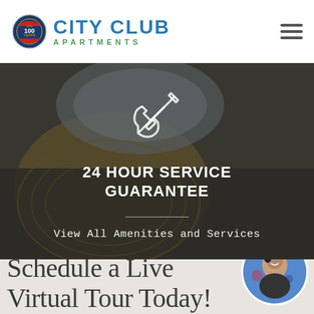[Figure (logo): City Club Apartments logo with 100 years badge, blue text CITY CLUB and green APARTMENTS text]
[Figure (photo): Dark background photo of a table with plates and wicker placemat, with wrench/screwdriver icon overlay and text '24 HOUR SERVICE GUARANTEE' and 'View All Amenities and Services' link]
Schedule a Live Virtual Tour Today!
[Figure (photo): Circular portrait of a smiling woman in dark uniform against a decorative blue background]